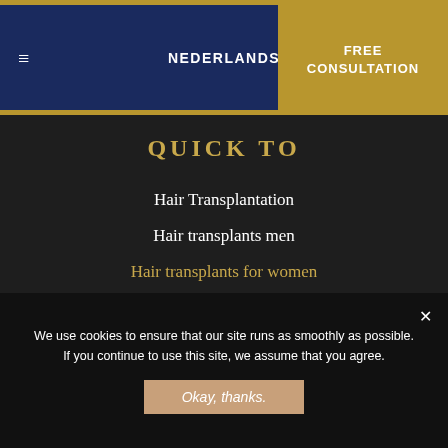NEDERLANDS | FREE CONSULTATION
QUICK TO
Hair Transplantation
Hair transplants men
Hair transplants for women
Prices and Packages
About Us
Meet the Team
We use cookies to ensure that our site runs as smoothly as possible. If you continue to use this site, we assume that you agree.
Okay, thanks.